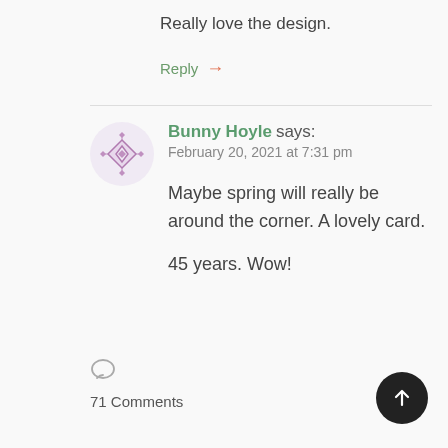Really love the design.
Reply →
Bunny Hoyle says: February 20, 2021 at 7:31 pm
Maybe spring will really be around the corner. A lovely card.

45 years. Wow!
71 Comments